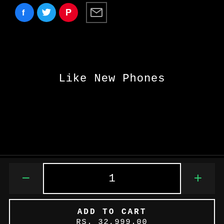[Figure (illustration): Social media share icons: Facebook (blue circle), Twitter (blue circle), Pinterest (red circle), and an email icon (square with envelope symbol)]
Like New Phones
1
ADD TO CART
RS. 32,999.00